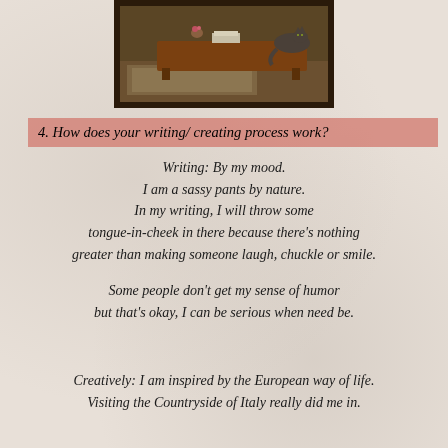[Figure (photo): A photo showing a wooden coffee table with a cat resting on it, an ornate rug beneath, and some items on the table, inside a room interior. The photo has a dark border/frame.]
4. How does your writing/ creating process work?
Writing: By my mood.
I am a sassy pants by nature.
In my writing, I will throw some tongue-in-cheek in there because there's nothing greater than making someone laugh, chuckle or smile.
Some people don't get my sense of humor but that's okay, I can be serious when need be.
Creatively: I am inspired by the European way of life.
Visiting the Countryside of Italy really did me in.